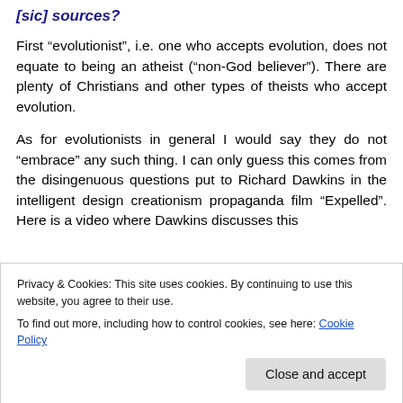[sic] sources?
First “evolutionist”, i.e. one who accepts evolution, does not equate to being an atheist (“non-God believer”). There are plenty of Christians and other types of theists who accept evolution.
As for evolutionists in general I would say they do not “embrace” any such thing. I can only guess this comes from the disingenuous questions put to Richard Dawkins in the intelligent design creationism propaganda film “Expelled”.  Here is a video where Dawkins discusses this
Privacy & Cookies: This site uses cookies. By continuing to use this website, you agree to their use.
To find out more, including how to control cookies, see here: Cookie Policy
Close and accept